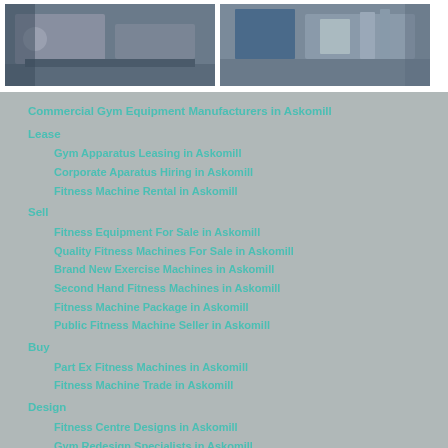[Figure (photo): Two workshop/gym equipment manufacturing photos side by side]
Commercial Gym Equipment Manufacturers in Askomill
Lease
Gym Apparatus Leasing in Askomill
Corporate Aparatus Hiring in Askomill
Fitness Machine Rental in Askomill
Sell
Fitness Equipment For Sale in Askomill
Quality Fitness Machines For Sale in Askomill
Brand New Exercise Machines in Askomill
Second Hand Fitness Machines in Askomill
Fitness Machine Package in Askomill
Public Fitness Machine Seller in Askomill
Buy
Part Ex Fitness Machines in Askomill
Fitness Machine Trade in Askomill
Design
Fitness Centre Designs in Askomill
Gym Redesign Specialists in Askomill